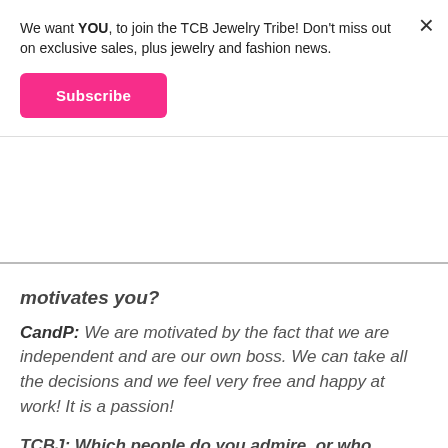We want YOU, to join the TCB Jewelry Tribe! Don't miss out on exclusive sales, plus jewelry and fashion news.
Subscribe
motivates you?
CandP: We are motivated by the fact that we are independent and are our own boss. We can take all the decisions and we feel very free and happy at work! It is a passion!
TCBJ: Which people do you admire, or who inspires you? (Still alive or not)
CandP: Our grandmother is really a superwoman! She had lots of ordeals in her life and she still keeps going being positive, and she's incredible!